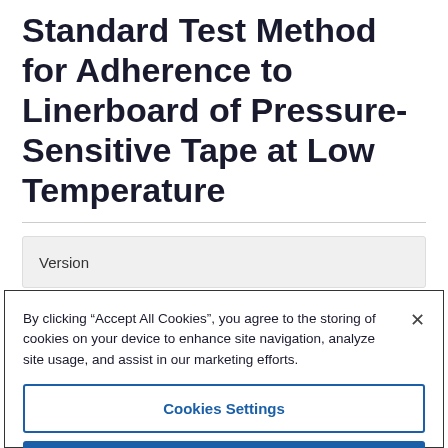Standard Test Method for Adherence to Linerboard of Pressure-Sensitive Tape at Low Temperature
| Version |
| --- |
By clicking “Accept All Cookies”, you agree to the storing of cookies on your device to enhance site navigation, analyze site usage, and assist in our marketing efforts.
Cookies Settings
Reject All